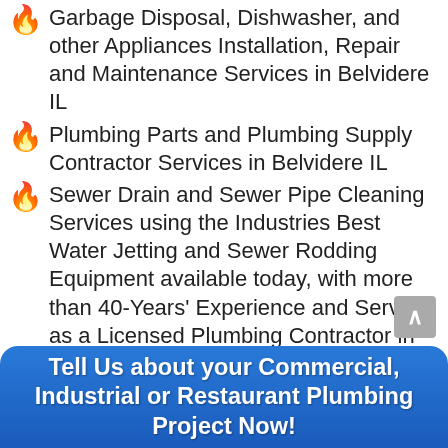Garbage Disposal, Dishwasher, and other Appliances Installation, Repair and Maintenance Services in Belvidere IL
Plumbing Parts and Plumbing Supply Contractor Services in Belvidere IL
Sewer Drain and Sewer Pipe Cleaning Services using the Industries Best Water Jetting and Sewer Rodding Equipment available today, with more than 40-Years' Experience and Service as a Licensed Plumbing Contractor in Belvidere IL
Property Maintenance Plumbing Services Contractor for Commercial, Industrial and Manufacturing Businesses in Belvidere IL
Tell Us about your Commercial, Industrial or Restaurant Plumbing Project Now!